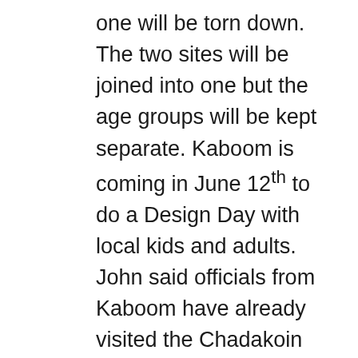one will be torn down. The two sites will be joined into one but the age groups will be kept separate. Kaboom is coming in June 12th to do a Design Day with local kids and adults. John said officials from Kaboom have already visited the Chadakoin site. Russ Diethrick asked if any of the old playground can be salvaged. John said it's in very bad shape and cannot be saved. He said the swings will be coming down too. With combining the sites, we'll be able to save on fall zones. Cindy DiNapoli asked if the pavilions will be updated. John said that happened already. He got a call from Parkitects about the grant and had Julia work on writing it. Chris Prinzi asked where the money is coming from for Kaboom. John said we can't say yet but there is a backer. That backer will be announced on June 12th. He added we will be needing 200 volunteers for build day as Kaboom...